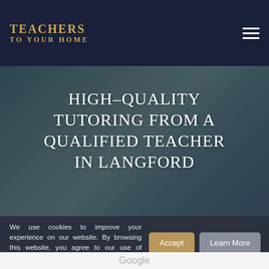TEACHERS TO YOUR HOME
[Figure (photo): Blurred background photo of a person, overlaid with dark semi-transparent layer serving as hero section background]
HIGH-QUALITY TUTORING FROM A QUALIFIED TEACHER IN LANGFORD
We use cookies to improve your experience on our website. By browsing this website, you agree to our use of cookies.
Google
Customer Reviews